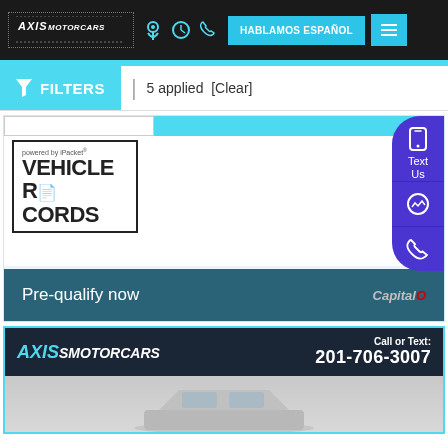AXIS MOTORCARS — Navigation bar with icons, HABLAMOS ESPAÑOL button, hamburger menu
FILTERS  5 applied  [Clear]
[Figure (logo): powered by iPacket VEHICLE RECORDS logo]
All with no impact to your credit score
Pre-qualify now  CapitalO...
[Figure (infographic): Floating action bar with Text Us, messenger, and phone icons]
[Figure (logo): AXIS MOTORCARS banner with Call or Text: 201-706-3007]
[Figure (photo): Partial view of a car (silver/grey) at the bottom of the page]